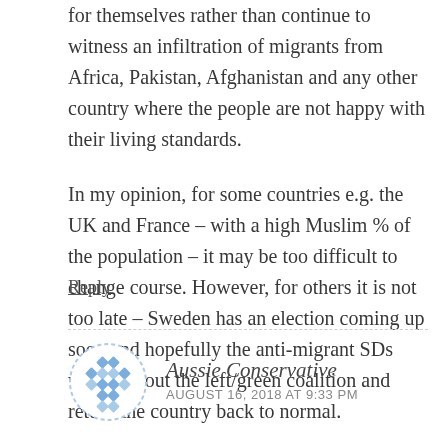for themselves rather than continue to witness an infiltration of migrants from Africa, Pakistan, Afghanistan and any other country where the people are not happy with their living standards.
In my opinion, for some countries e.g. the UK and France – with a high Muslim % of the population – it may be too difficult to change course. However, for others it is not too late – Sweden has an election coming up soon and hopefully the anti-migrant SDs will boot out the left/green coalition and return the country back to normal.
Reply
[Figure (illustration): Circular avatar icon with blue diamond/rhombus pattern on white background with dashed border]
Aussie Conservative
AUGUST 16, 2018 AT 9:33 PM